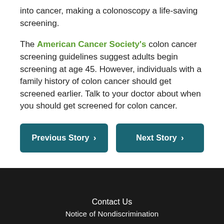into cancer, making a colonoscopy a life-saving screening.
The American Cancer Society's colon cancer screening guidelines suggest adults begin screening at age 45. However, individuals with a family history of colon cancer should get screened earlier. Talk to your doctor about when you should get screened for colon cancer.
Previous Story >
Next Story >
Contact Us
Notice of Nondiscrimination